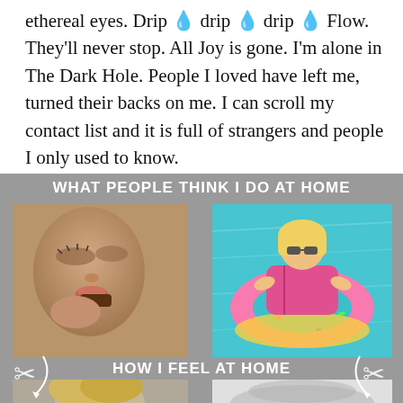ethereal eyes. Drip 💧 drip 💧 drip 💧 Flow. They'll never stop. All Joy is gone. I'm alone in The Dark Hole. People I loved have left me, turned their backs on me. I can scroll my contact list and it is full of strangers and people I only used to know.
[Figure (infographic): A meme-style infographic on a grey background with the title 'WHAT PEOPLE THINK I DO AT HOME' at the top. Two photos side by side: left shows a glamorous close-up of a woman eating chocolate, right shows a woman relaxing on a pink donut-shaped pool float in turquoise water. A second label 'HOW I FEEL AT HOME' separates the top photos from the bottom row. Two partially visible photos at bottom: left shows a distressed-looking person, right is mostly white/grey. Decorative scissors and swirl/arrow elements overlaid.]